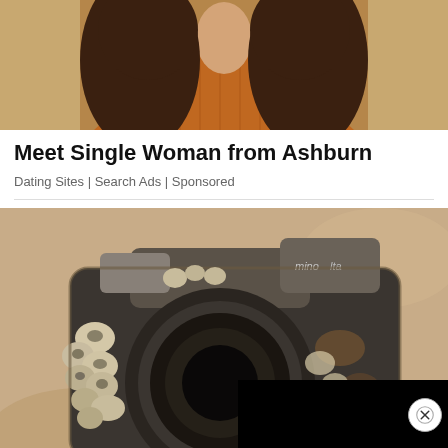[Figure (photo): Cropped photo of a woman with curly hair wearing a rust/orange sweater, showing from chin to chest area]
Meet Single Woman from Ashburn
Dating Sites | Search Ads | Sponsored
[Figure (photo): Photo of a barnacle-encrusted camera that was lost at sea and recovered, with a black overlay rectangle partially covering the lower right. A circular close (X) button is visible on the right side.]
Diver Finds Camera Lost At Sea, Finds Familiar Face In Photos